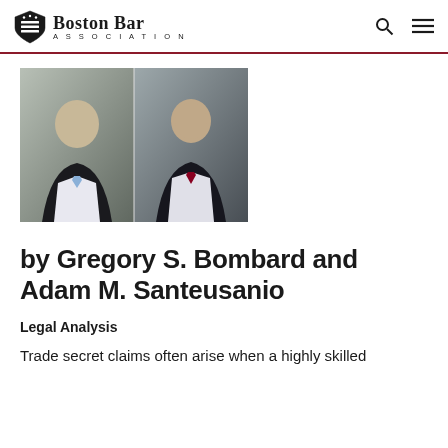Boston Bar Association
[Figure (photo): Two professional headshot photos side by side: Gregory S. Bombard (left, smiling man in dark suit with light blue tie) and Adam M. Santeusanio (right, man in dark suit with dark red tie), both in front of grey backgrounds.]
by Gregory S. Bombard and Adam M. Santeusanio
Legal Analysis
Trade secret claims often arise when a highly skilled